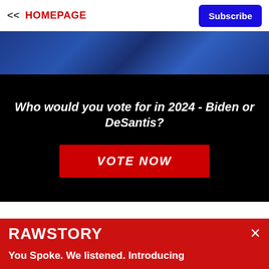<< HOMEPAGE   Subscribe
[Figure (photo): Photo strip showing people in suits and ties, partial view, blue toned]
Who would you vote for in 2024 - Biden or DeSantis?
VOTE NOW
[Figure (logo): RAWSTORY logo in white on red background with X close button]
You Spoke. We listened. Introducing